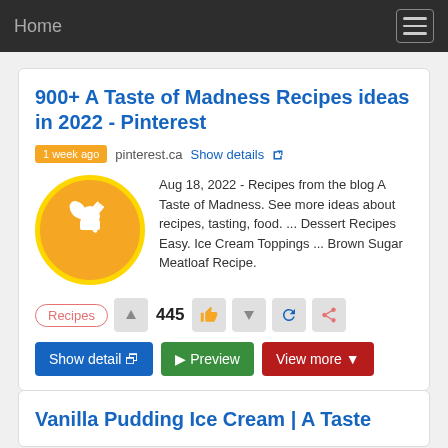Home
900+ A Taste of Madness Recipes ideas in 2022 - Pinterest
1 week ago  pinterest.ca  Show details
Aug 18, 2022 - Recipes from the blog A Taste of Madness. See more ideas about recipes, tasting, food. ... Dessert Recipes Easy. Ice Cream Toppings ... Brown Sugar Meatloaf Recipe.
Recipes  445  Show detail  Preview  View more
Vanilla Pudding Ice Cream | A Taste